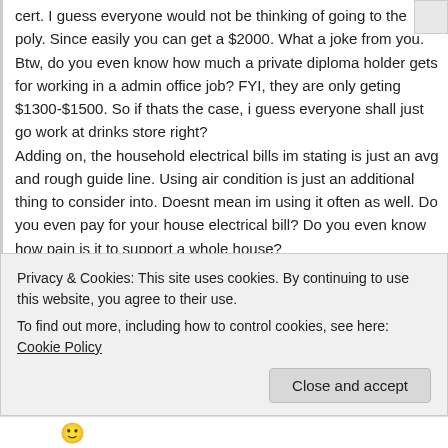cert. I guess everyone would not be thinking of going to the poly. Since easily you can get a $2000. What a joke from you.
Btw, do you even know how much a private diploma holder gets for working in a admin office job? FYI, they are only geting $1300-$1500. So if thats the case, i guess everyone shall just go work at drinks store right?
Adding on, the household electrical bills im stating is just an avg and rough guide line. Using air condition is just an additional thing to consider into. Doesnt mean im using it often as well. Do you even pay for your house electrical bill? Do you even know how pain is it to support a whole house?
Im just voicing out my own point of view because i have seen alot of changes going on for years. All the hardship i had went through in the past. I dont come from a wealthy family like you do. I did not receive any proper education like how fortunate you are. I started
Privacy & Cookies: This site uses cookies. By continuing to use this website, you agree to their use.
To find out more, including how to control cookies, see here: Cookie Policy
Close and accept
🙂